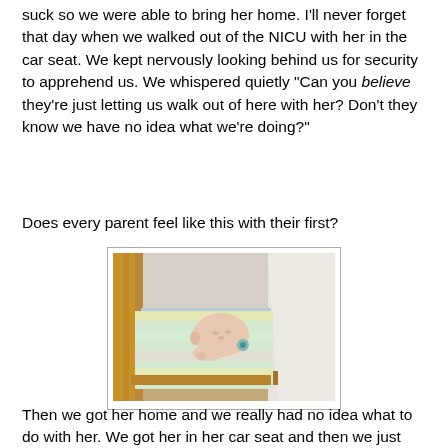suck so we were able to bring her home. I'll never forget that day when we walked out of the NICU with her in the car seat. We kept nervously looking behind us for security to apprehend us. We whispered quietly "Can you believe they're just letting us walk out of here with her? Don't they know we have no idea what we're doing?"
Does every parent feel like this with their first?
[Figure (photo): A newborn baby sleeping in a wooden crib, wrapped in a pastel striped blanket. A pacifier is visible near the baby's mouth. White bedding/pillow is visible to the right side.]
Then we got her home and we really had no idea what to do with her. We got her in her car seat and then we just stared at her.